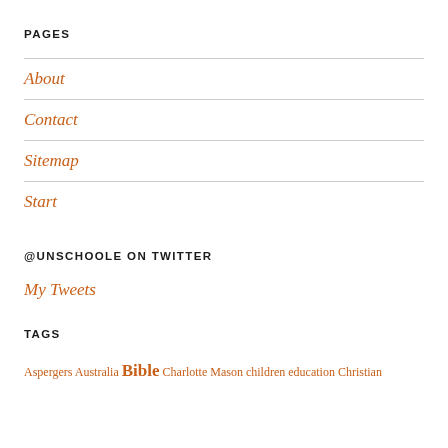PAGES
About
Contact
Sitemap
Start
@UNSCHOOLE ON TWITTER
My Tweets
TAGS
Aspergers Australia Bible Charlotte Mason children education Christian